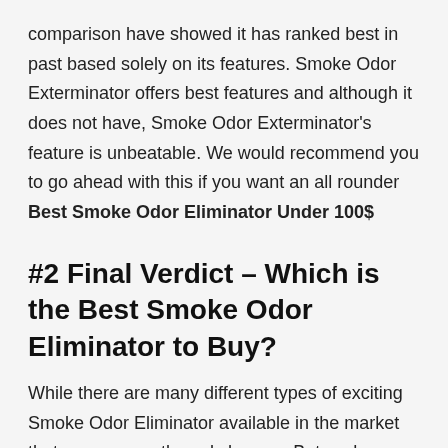comparison have showed it has ranked best in past based solely on its features. Smoke Odor Exterminator offers best features and although it does not have, Smoke Odor Exterminator's feature is unbeatable. We would recommend you to go ahead with this if you want an all rounder Best Smoke Odor Eliminator Under 100$
#2 Final Verdict – Which is the Best Smoke Odor Eliminator to Buy?
While there are many different types of exciting Smoke Odor Eliminator available in the market that are very costly and cheaper. But we have shared in this article each and every Smoke Odor Eliminator details information to find out which is the best Smoke Odor Eliminator according to your budget.
Thus, buying a good Smoke Odor Eliminator will require lots